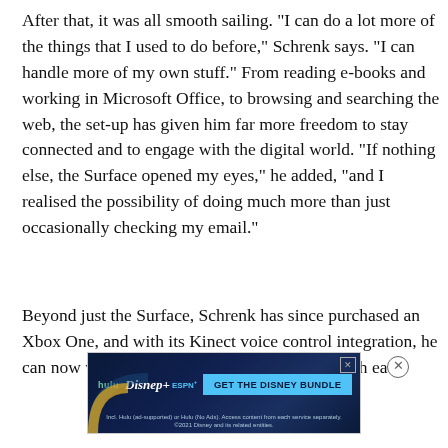After that, it was all smooth sailing. "I can do a lot more of the things that I used to do before," Schrenk says. "I can handle more of my own stuff." From reading e-books and working in Microsoft Office, to browsing and searching the web, the set-up has given him far more freedom to stay connected and to engage with the digital world. "If nothing else, the Surface opened my eyes," he added, "and I realised the possibility of doing much more than just occasionally checking my email."
Beyond just the Surface, Schrenk has since purchased an Xbox One, and with its Kinect voice control integration, he can now watch television shows and movies with ea...
[Figure (other): Advertisement banner for Disney Bundle (Hulu + Disney+ + ESPN+) with 'GET THE DISNEY BUNDLE' call to action and fine print about Hulu ad-supported and No Ads options.]